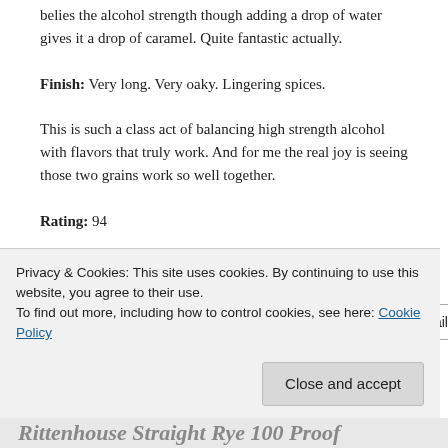belies the alcohol strength though adding a drop of water gives it a drop of caramel. Quite fantastic actually.
Finish: Very long. Very oaky. Lingering spices.
This is such a class act of balancing high strength alcohol with flavors that truly work. And for me the real joy is seeing those two grains work so well together.
Rating: 94
Share this:
Twitter  Facebook  Pinterest  Email
Loading...
Privacy & Cookies: This site uses cookies. By continuing to use this website, you agree to their use.
To find out more, including how to control cookies, see here: Cookie Policy
Close and accept
Rittenhouse Straight Rye 100 Proof